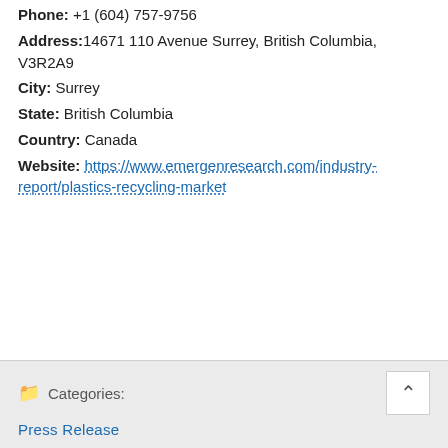Phone: +1 (604) 757-9756
Address: 14671 110 Avenue Surrey, British Columbia, V3R2A9
City: Surrey
State: British Columbia
Country: Canada
Website: https://www.emergenresearch.com/industry-report/plastics-recycling-market
Categories: Press Release